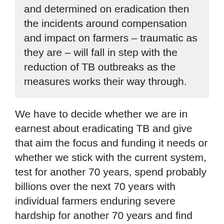and determined on eradication then the incidents around compensation and impact on farmers – traumatic as they are – will fall in step with the reduction of TB outbreaks as the measures works their way through.
We have to decide whether we are in earnest about eradicating TB and give that aim the focus and funding it needs or whether we stick with the current system, test for another 70 years, spend probably billions over the next 70 years with individual farmers enduring severe hardship for another 70 years and find ourselves no further on than today. ICMSA thinks that the danger of losing focus on eradication, as has happened so many times in the past, is that you practically guarantee more cases, more outbreaks, more cases of